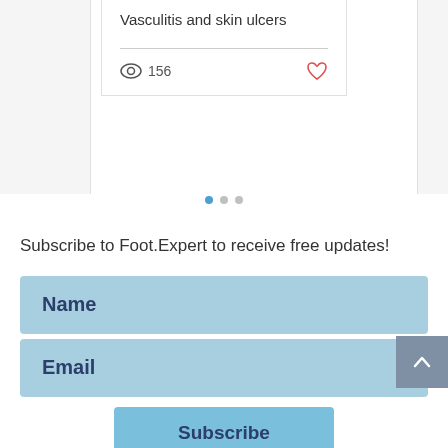Vasculitis and skin ulcers
156
[Figure (other): Carousel pagination dots — three dots, first one active (blue), other two grey]
Subscribe to Foot.Expert to receive free updates!
Name
Email
Subscribe